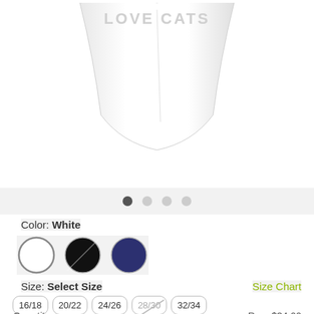[Figure (photo): White t-shirt product photo with faint 'LOVE CATS' text, shown from mid-chest to hem against white background]
Color: White
[Figure (other): Three color swatches: White (selected), Black, Navy Blue]
Size: Select Size
Size Chart
16/18  20/22  24/26  28/30  32/34
Quantity:
Reg. $34.00